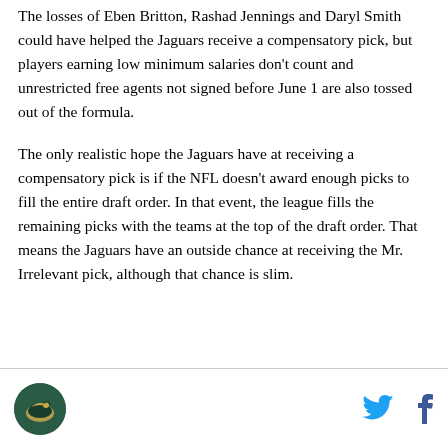The losses of Eben Britton, Rashad Jennings and Daryl Smith could have helped the Jaguars receive a compensatory pick, but players earning low minimum salaries don't count and unrestricted free agents not signed before June 1 are also tossed out of the formula.
The only realistic hope the Jaguars have at receiving a compensatory pick is if the NFL doesn't award enough picks to fill the entire draft order. In that event, the league fills the remaining picks with the teams at the top of the draft order. That means the Jaguars have an outside chance at receiving the Mr. Irrelevant pick, although that chance is slim.
[Figure (logo): Jacksonville Jaguars team logo in circular badge, dark green background]